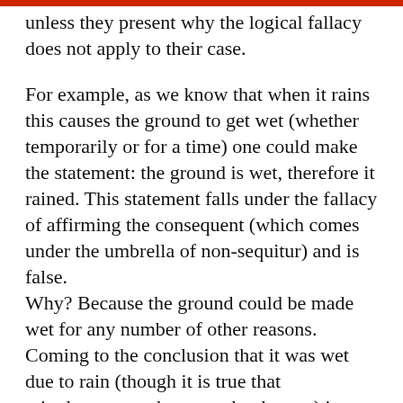unless they present why the logical fallacy does not apply to their case.
For example, as we know that when it rains this causes the ground to get wet (whether temporarily or for a time) one could make the statement: the ground is wet, therefore it rained. This statement falls under the fallacy of affirming the consequent (which comes under the umbrella of non-sequitur) and is false. Why? Because the ground could be made wet for any number of other reasons. Coming to the conclusion that it was wet due to rain (though it is true that rain does cause the ground to be wet) is flawed and faulty logic. The person that made this